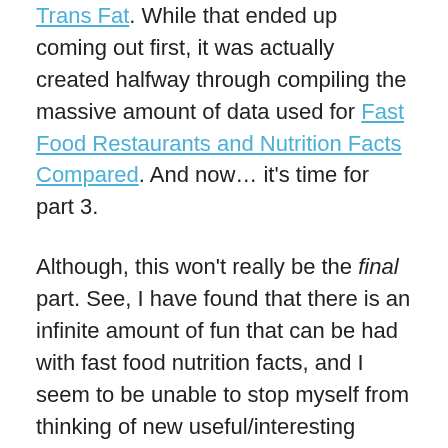Trans Fat. While that ended up coming out first, it was actually created halfway through compiling the massive amount of data used for Fast Food Restaurants and Nutrition Facts Compared. And now… it's time for part 3.
Although, this won't really be the final part. See, I have found that there is an infinite amount of fun that can be had with fast food nutrition facts, and I seem to be unable to stop myself from thinking of new useful/interesting things to do with it all.
So, while what you're about to see may be the last fast food related article you see from me for a little while (other equally cool, equally huge things are on the way), it